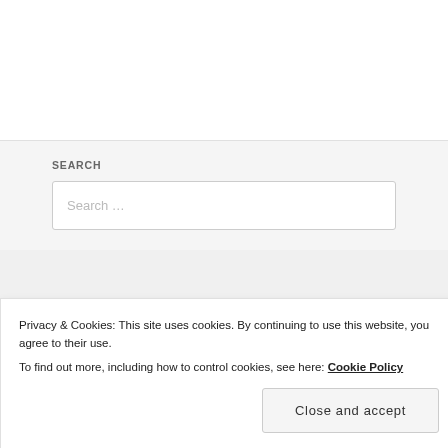SEARCH
[Figure (screenshot): Search input box with placeholder text 'Search ...']
LIVE SCUNTHORPE SCORES
Follow the latest football scores, including
Privacy & Cookies: This site uses cookies. By continuing to use this website, you agree to their use. To find out more, including how to control cookies, see here: Cookie Policy
Close and accept